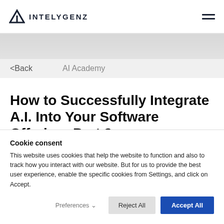INTELYGENZ
<Back   AI Academy
How to Successfully Integrate A.I. Into Your Software Offering: Part 2
Cookie consent
This website uses cookies that help the website to function and also to track how you interact with our website. But for us to provide the best user experience, enable the specific cookies from Settings, and click on Accept.